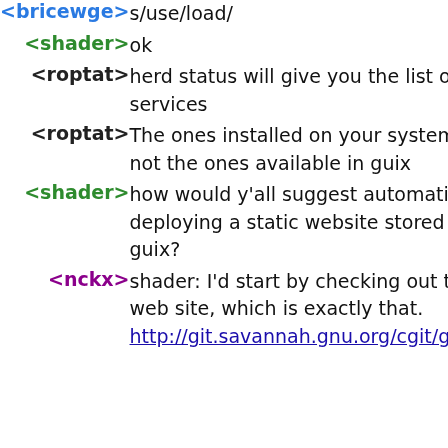<bricewge> s/use/load/
<shader> ok
<roptat> herd status will give you the list of services
<roptat> The ones installed on your system that is, not the ones available in guix
<shader> how would y'all suggest automatically deploying a static website stored in git to guix?
<nckx> shader: I'd start by checking out the Guix web site, which is exactly that.
http://git.savannah.gnu.org/cgit/guix/guix-